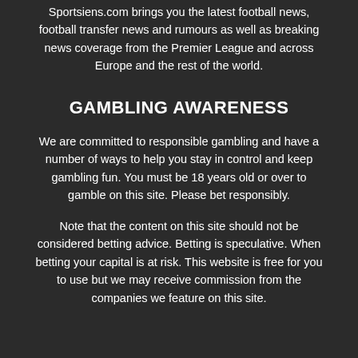Sportsiens.com brings you the latest football news, football transfer news and rumours as well as breaking news coverage from the Premier League and across Europe and the rest of the world.
GAMBLING AWARENESS
We are committed to responsible gambling and have a number of ways to help you stay in control and keep gambling fun. You must be 18 years old or over to gamble on this site. Please bet responsibly.
Note that the content on this site should not be considered betting advice. Betting is speculative. When betting your capital is at risk. This website is free for you to use but we may receive commission from the companies we feature on this site.